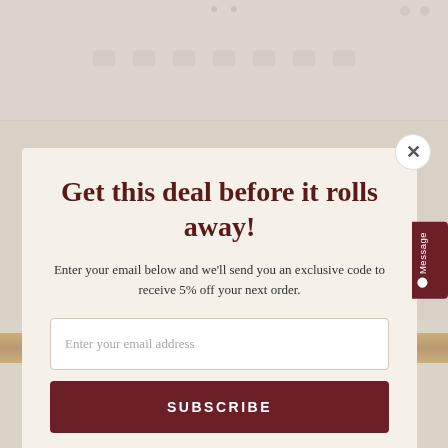[Figure (screenshot): Background website page showing navigation bar at top and product thumbnails at bottom, partially obscured by modal overlay]
Get this deal before it rolls away!
Enter your email below and we'll send you an exclusive code to receive 5% off your next order.
Enter your email address
SUBSCRIBE